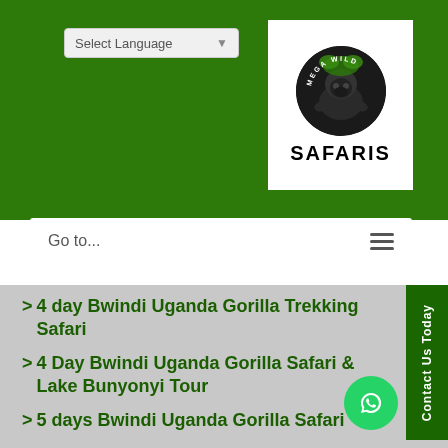[Figure (logo): Mega Wild Safaris logo — circular gorilla image with text 'MEGA WILD' arched around top, 'SAFARIS' in bold black below]
Select Language
Go to...
> 4 day Bwindi Uganda Gorilla Trekking Safari
> 4 Day Bwindi Uganda Gorilla Safari & Lake Bunyonyi Tour
> 5 days Bwindi Uganda Gorilla Safari